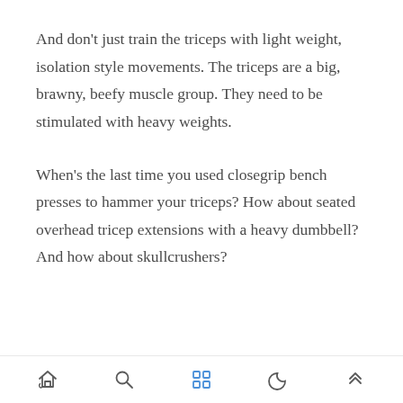And don't just train the triceps with light weight, isolation style movements. The triceps are a big, brawny, beefy muscle group. They need to be stimulated with heavy weights.
When's the last time you used closegrip bench presses to hammer your triceps? How about seated overhead tricep extensions with a heavy dumbbell? And how about skullcrushers?
[navigation icons: home, search, grid, moon, up-arrow]